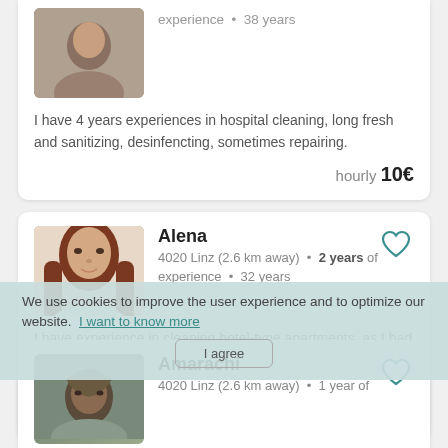[Figure (photo): Partial profile card at top showing a person's face photo, partial]
experience • 38 years
I have 4 years experiences in hospital cleaning, long fresh and sanitizing, desinfencting, sometimes repairing.
hourly 10€
[Figure (photo): Profile photo of Alena, woman with long brown hair]
Alena
4020 Linz (2.6 km away) • 2 years of experience • 32 years
I have experience in cleaning hotel-type apartments, as I had my own small business in Cherkassy. I work conscientiously and responsibly. Willing to learn if needed....
hourly 15€
We use cookies to improve the user experience and to optimize our website. I want to know more
I agree
[Figure (photo): Profile photo of Amarachi, partial view]
Amarachi
4020 Linz (2.6 km away) • 1 year of